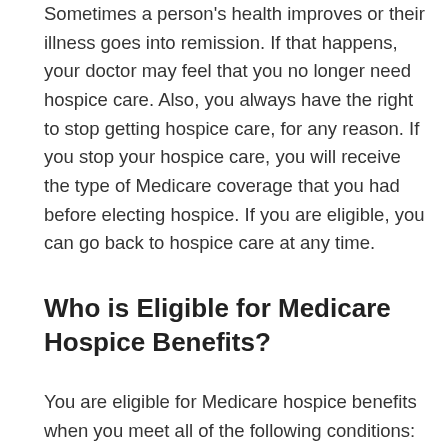Sometimes a person's health improves or their illness goes into remission. If that happens, your doctor may feel that you no longer need hospice care. Also, you always have the right to stop getting hospice care, for any reason. If you stop your hospice care, you will receive the type of Medicare coverage that you had before electing hospice. If you are eligible, you can go back to hospice care at any time.
Who is Eligible for Medicare Hospice Benefits?
You are eligible for Medicare hospice benefits when you meet all of the following conditions: